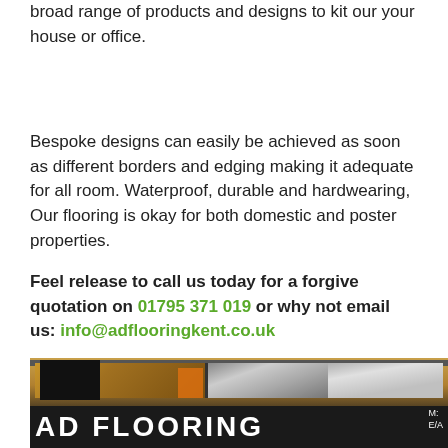broad range of products and designs to kit our your house or office.
Bespoke designs can easily be achieved as soon as different borders and edging making it adequate for all room. Waterproof, durable and hardwearing, Our flooring is okay for both domestic and poster properties.
Feel release to call us today for a forgive quotation on 01795 371 019 or why not email us: info@adflooringkent.co.uk
[Figure (photo): Interior photo of AD Flooring showroom with flooring displays visible and a dark sign bar at the bottom reading 'AD FLOORING']